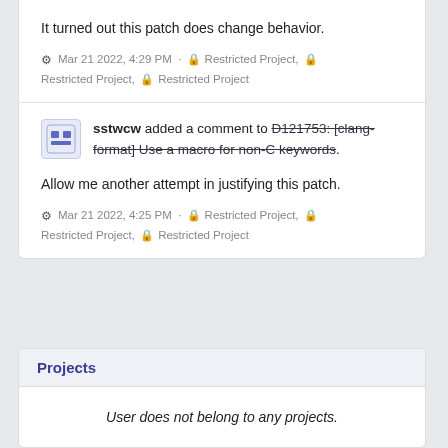It turned out this patch does change behavior.
Mar 21 2022, 4:29 PM · Restricted Project, Restricted Project, Restricted Project
sstwcw added a comment to D121753: [clang-format] Use a macro for non-C keywords.
Allow me another attempt in justifying this patch.
Mar 21 2022, 4:25 PM · Restricted Project, Restricted Project, Restricted Project
Projects
User does not belong to any projects.